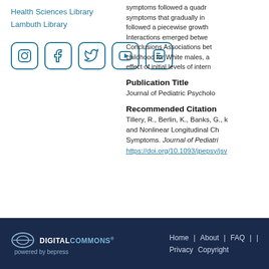Health Sciences Library
Lambuth Library
[Figure (illustration): Row of five social media icons (Instagram, Facebook, Twitter, YouTube, Blogger) in teal/dark blue color]
symptoms followed a quadratic growth pattern for initial symptoms that gradually increased then decreased. ADHD followed a piecewise growth model (linear then nonlinear). Interactions emerged between race and sex. Conclusions Associations between internalizing symptoms in childhood for White males, and an examination of the effect of initial levels of internalizing symptoms on ADHD.
Publication Title
Journal of Pediatric Psycholo...
Recommended Citation
Tillery, R., Berlin, K., Banks, G., ... and Nonlinear Longitudinal Ch... Symptoms. Journal of Pediatri... https://doi.org/10.1093/jpepsy/jsv...
Digital Commons powered by bepress | Home | About | FAQ | Privacy | Copyright